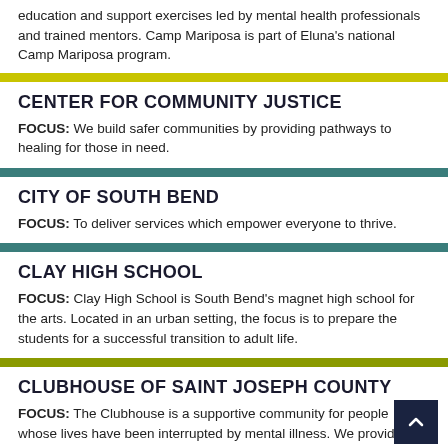education and support exercises led by mental health professionals and trained mentors. Camp Mariposa is part of Eluna's national Camp Mariposa program.
CENTER FOR COMMUNITY JUSTICE
FOCUS: We build safer communities by providing pathways to healing for those in need.
CITY OF SOUTH BEND
FOCUS: To deliver services which empower everyone to thrive.
CLAY HIGH SCHOOL
FOCUS: Clay High School is South Bend's magnet high school for the arts. Located in an urban setting, the focus is to prepare the students for a successful transition to adult life.
CLUBHOUSE OF SAINT JOSEPH COUNTY
FOCUS: The Clubhouse is a supportive community for people whose lives have been interrupted by mental illness. We provide opportunities for employment education and wellness.